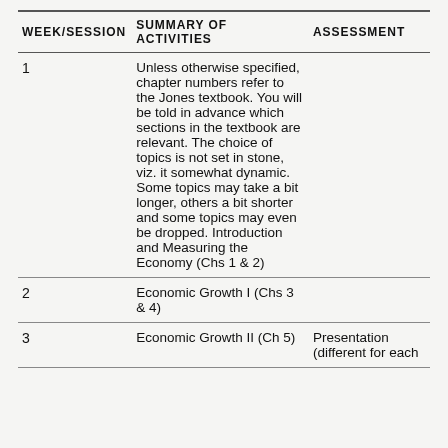| WEEK/SESSION | SUMMARY OF ACTIVITIES | ASSESSMENT |
| --- | --- | --- |
| 1 | Unless otherwise specified, chapter numbers refer to the Jones textbook. You will be told in advance which sections in the textbook are relevant. The choice of topics is not set in stone, viz. it somewhat dynamic. Some topics may take a bit longer, others a bit shorter and some topics may even be dropped. Introduction and Measuring the Economy (Chs 1 & 2) |  |
| 2 | Economic Growth I (Chs 3 & 4) |  |
| 3 | Economic Growth II (Ch 5) | Presentation (different for each |